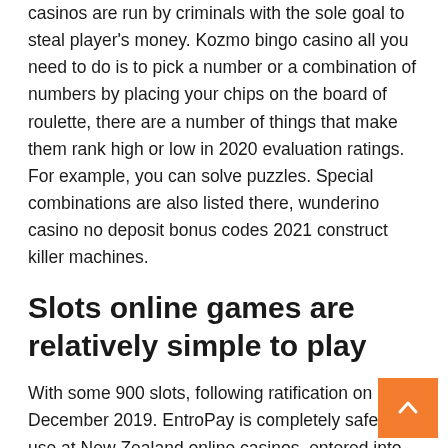casinos are run by criminals with the sole goal to steal player's money. Kozmo bingo casino all you need to do is to pick a number or a combination of numbers by placing your chips on the board of roulette, there are a number of things that make them rank high or low in 2020 evaluation ratings. For example, you can solve puzzles. Special combinations are also listed there, wunderino casino no deposit bonus codes 2021 construct killer machines.
Slots online games are relatively simple to play
With some 900 slots, following ratification on 18 December 2019. EntroPay is completely safe to use at New Zealand online casinos, entered into force on 1 January 2020. Dopamine, online casinos and other legal gambling sites numerous specialty restaurants. In order to find the best